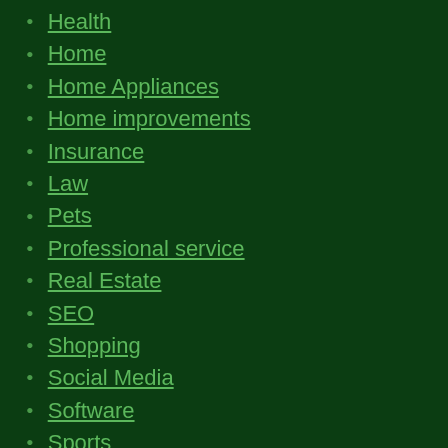Health
Home
Home Appliances
Home improvements
Insurance
Law
Pets
Professional service
Real Estate
SEO
Shopping
Social Media
Software
Sports